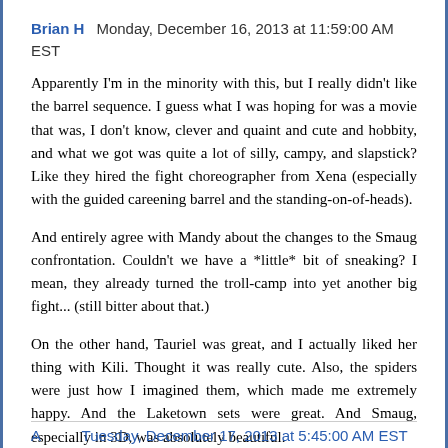Brian H  Monday, December 16, 2013 at 11:59:00 AM EST
Apparently I'm in the minority with this, but I really didn't like the barrel sequence. I guess what I was hoping for was a movie that was, I don't know, clever and quaint and cute and hobbity, and what we got was quite a lot of silly, campy, and slapstick? Like they hired the fight choreographer from Xena (especially with the guided careening barrel and the standing-on-of-heads).
And entirely agree with Mandy about the changes to the Smaug confrontation. Couldn't we have a *little* bit of sneaking? I mean, they already turned the troll-camp into yet another big fight... (still bitter about that.)
On the other hand, Tauriel was great, and I actually liked her thing with Kili. Thought it was really cute. Also, the spiders were just how I imagined them, which made me extremely happy. And the Laketown sets were great. And Smaug, especially in 3D, was absolutely beautiful.
Reply